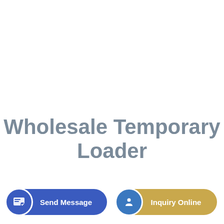Wholesale Temporary Loader
Send Message
Inquiry Online